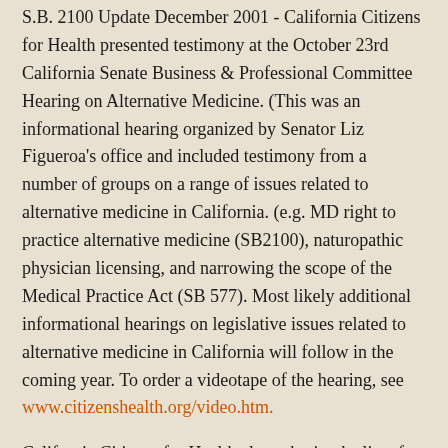S.B. 2100 Update December 2001 - California Citizens for Health presented testimony at the October 23rd California Senate Business & Professional Committee Hearing on Alternative Medicine. (This was an informational hearing organized by Senator Liz Figueroa's office and included testimony from a number of groups on a range of issues related to alternative medicine in California. (e.g. MD right to practice alternative medicine (SB2100), naturopathic physician licensing, and narrowing the scope of the Medical Practice Act (SB 577). Most likely additional informational hearings on legislative issues related to alternative medicine in California will follow in the coming year. To order a videotape of the hearing, see www.citizenshealth.org/video.htm.
California Citizens for Health also submitted a list of recommendations to the California Joint Legislative Sunset Review Committee on December 4, 2001. The recommendations pertain to the California Medical Board's policies for dealing with physicians in private practice that are using alternative methods. For details, see www.citizenshealth.org/recommend.htm.
Florida